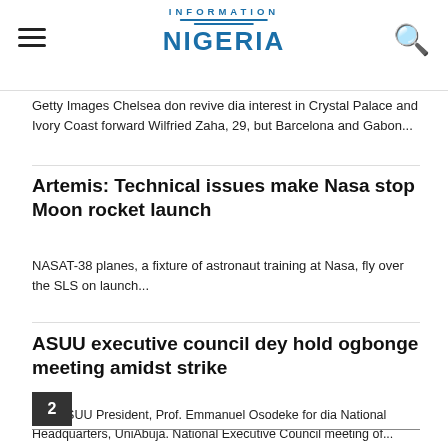Information Nigeria
Getty Images Chelsea don revive dia interest in Crystal Palace and Ivory Coast forward Wilfried Zaha, 29, but Barcelona and Gabon...
Artemis: Technical issues make Nasa stop Moon rocket launch
NASAT-38 planes, a fixture of astronaut training at Nasa, fly over the SLS on launch...
ASUU executive council dey hold ogbonge meeting amidst strike
BBCASUU President, Prof. Emmanuel Osodeke for dia National Headquarters, UniAbuja. National Executive Council meeting of...
2